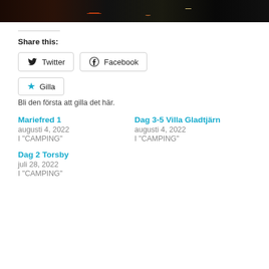[Figure (photo): Dark photo strip showing night scene with warm orange/red light and glassware, appears to be restaurant or bar setting]
Share this:
Twitter  Facebook
★ Gilla
Bli den första att gilla det här.
Mariefred 1
augusti 4, 2022
I "CAMPING"
Dag 3-5 Villa Gladtjärn
augusti 4, 2022
I "CAMPING"
Dag 2 Torsby
juli 28, 2022
I "CAMPING"